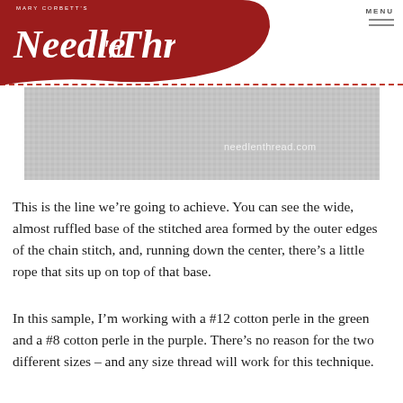Mary Corbett's Needle 'n Thread — needlenthread.com — MENU
[Figure (photo): Close-up photograph of embroidery fabric texture showing woven canvas with a watermark reading needlenthread.com]
This is the line we’re going to achieve. You can see the wide, almost ruffled base of the stitched area formed by the outer edges of the chain stitch, and, running down the center, there’s a little rope that sits up on top of that base.
In this sample, I’m working with a #12 cotton perle in the green and a #8 cotton perle in the purple. There’s no reason for the two different sizes – and any size thread will work for this technique.